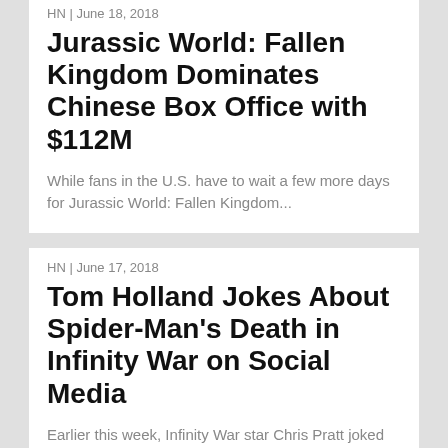HN | June 18, 2018
Jurassic World: Fallen Kingdom Dominates Chinese Box Office with $112M
While fans in the U.S. have to wait a few more days for Jurassic World: Fallen Kingdom...
HN | June 17, 2018
Tom Holland Jokes About Spider-Man's Death in Infinity War on Social Media
Earlier this week, Infinity War star Chris Pratt joked that Tom Holland spoiled Jurassic World 2 for...